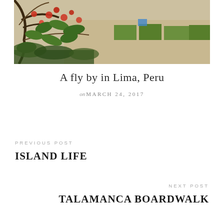[Figure (photo): Outdoor photograph showing flowering plants with red/orange blooms and green leaves in the foreground, with sandy terrain and green rectangular garden plots visible in the background.]
A fly by in Lima, Peru
on MARCH 24, 2017
PREVIOUS POST
ISLAND LIFE
NEXT POST
TALAMANCA BOARDWALK